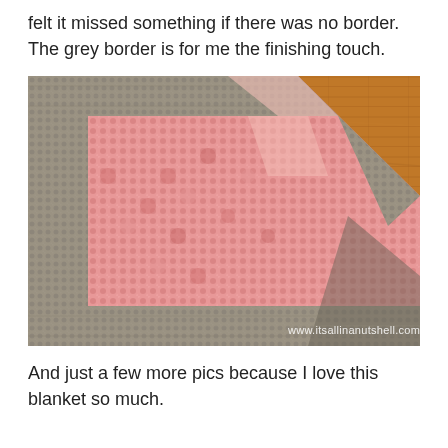felt it missed something if there was no border. The grey border is for me the finishing touch.
[Figure (photo): Close-up photo of a crochet blanket with pink center sections and a wide grey border, laid flat on a warm wooden floor. The corner of the blanket is visible showing the detailed grey crochet border surrounding the pink textured body. Watermark reads www.itsallinanutshell.com]
And just a few more pics because I love this blanket so much.